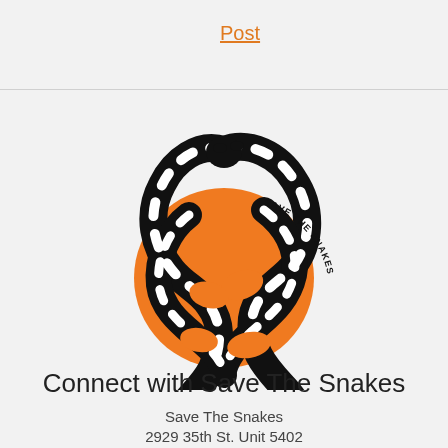Post
[Figure (logo): Save The Snakes logo: two black and white banded snakes coiled together on an orange circle background, with 'SAVE THE SNAKES' text curving around the upper right of the circle.]
Connect with Save The Snakes
Save The Snakes
2929 35th St. Unit 5402